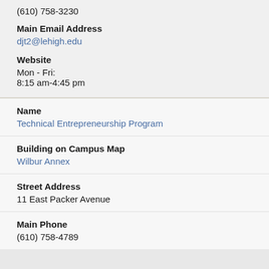(610) 758-3230
Main Email Address
djt2@lehigh.edu
Website
Mon - Fri:
8:15 am-4:45 pm
Name
Technical Entrepreneurship Program
Building on Campus Map
Wilbur Annex
Street Address
11 East Packer Avenue
Main Phone
(610) 758-4789